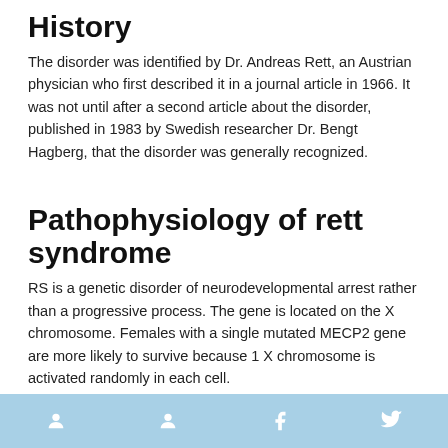History
The disorder was identified by Dr. Andreas Rett, an Austrian physician who first described it in a journal article in 1966. It was not until after a second article about the disorder, published in 1983 by Swedish researcher Dr. Bengt Hagberg, that the disorder was generally recognized.
Pathophysiology of rett syndrome
RS is a genetic disorder of neurodevelopmental arrest rather than a progressive process. The gene is located on the X chromosome. Females with a single mutated MECP2 gene are more likely to survive because 1 X chromosome is activated randomly in each cell.
Causes
The major cause is a mutation on the methyl CpG binding protein 2 (MECP2) gene. The gene, found on the X chromosome, typically makes a protein that is critical to normal brain development. The